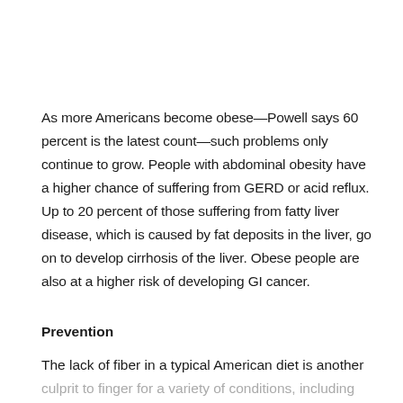As more Americans become obese—Powell says 60 percent is the latest count—such problems only continue to grow. People with abdominal obesity have a higher chance of suffering from GERD or acid reflux. Up to 20 percent of those suffering from fatty liver disease, which is caused by fat deposits in the liver, go on to develop cirrhosis of the liver. Obese people are also at a higher risk of developing GI cancer.
Prevention
The lack of fiber in a typical American diet is another culprit to finger for a variety of conditions, including